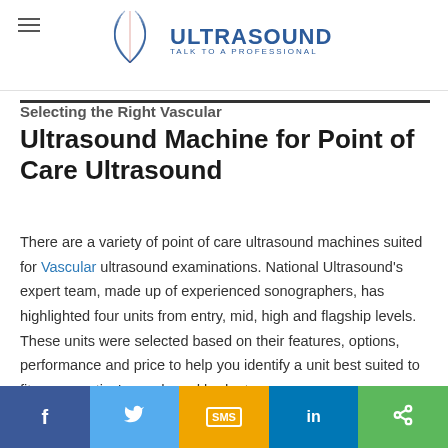National Ultrasound — Talk to a Professional
Selecting the Right Vascular Ultrasound Machine for Point of Care Ultrasound
There are a variety of point of care ultrasound machines suited for Vascular ultrasound examinations. National Ultrasound's expert team, made up of experienced sonographers, has highlighted four units from entry, mid, high and flagship levels. These units were selected based on their features, options, performance and price to help you identify a unit best suited to fit your practice's needs and budget.
Social share bar: Facebook, Twitter, SMS, LinkedIn, Share